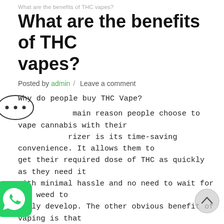What are the benefits of THC vapes?
What are the benefits of THC vapes?
Posted by admin / Leave a comment
Why do people buy THC Vape?
The main reason people choose to vape cannabis with their vaporizer is its time-saving convenience. It allows them to get their required dose of THC as quickly as they need it with minimal hassle and no need to wait for the weed to fully develop. The other obvious benefit of vaping is that the process requires no dosing, so it’s not a chance to overdose as it would be with smoked weed. Vaping marijuana does not produce the same smell as smoking, unlike smoking which could take longer to get rid of the smoke smell and could affect your sense of smell.
Using a dry herb or flower vaporizer as opposed to smoking it simply brings in a whole new experience for the user. With THC vape pens, users can indulge in their